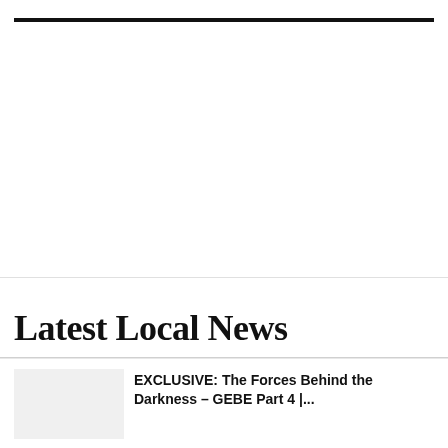Latest Local News
EXCLUSIVE: The Forces Behind the Darkness – GEBE Part 4 |...